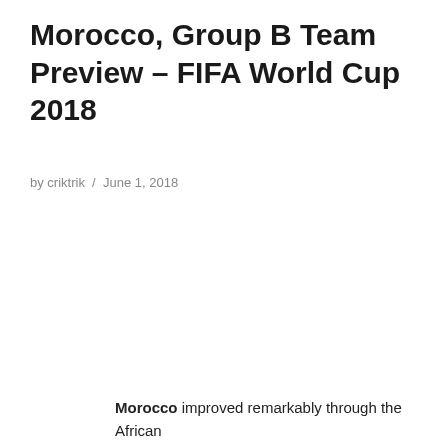Morocco, Group B Team Preview – FIFA World Cup 2018
by criktrik / June 1, 2018
Morocco improved remarkably through the African